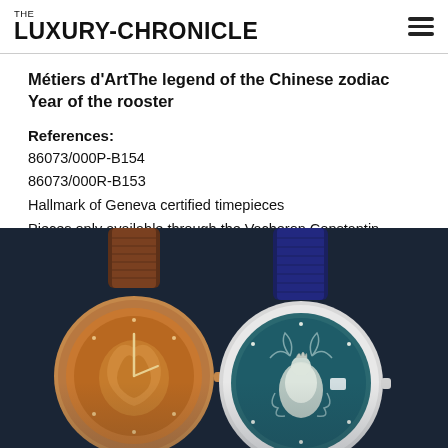THE LUXURY-CHRONICLE
Métiers d'ArtThe legend of the Chinese zodiac Year of the rooster
References:
86073/000P-B154
86073/000R-B153
Hallmark of Geneva certified timepieces
Pieces only available through the Vacheron Constantin Boutiques
[Figure (photo): Two luxury Vacheron Constantin watches with ornate dials featuring Chinese zodiac rooster motifs — one with a rose gold case and brown crocodile strap, another with a silver case and dark blue strap with teal/blue engraved rooster dial]